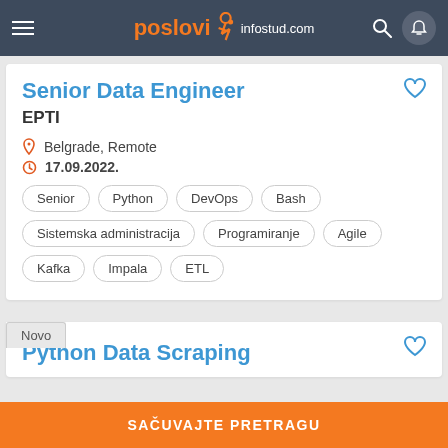poslovi infostud.com
Senior Data Engineer
EPTI
Belgrade, Remote
17.09.2022.
Senior
Python
DevOps
Bash
Sistemska administracija
Programiranje
Agile
Kafka
Impala
ETL
Novo
Python Data Scraping
SAČUVAJTE PRETRAGU